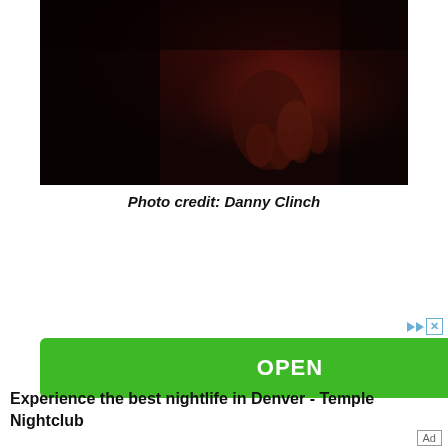[Figure (photo): Dark reddish-toned photo showing hands in dim lighting against a dark background]
Photo credit: Danny Clinch
[Figure (infographic): Advertisement with green OPEN button, skip/close icons, text 'Experience the best nightlife in Denver - Temple Nightclub', and Ad label]